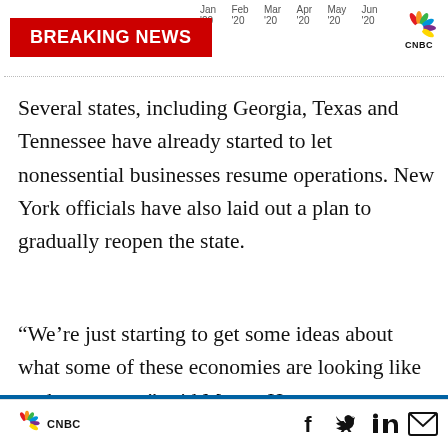Jan '20  Feb '20  Mar '20  Apr '20  May '20  Jun '20
[Figure (logo): CNBC Breaking News red banner with white bold text]
[Figure (logo): CNBC peacock logo top right]
Several states, including Georgia, Texas and Tennessee have already started to let nonessential businesses resume operations. New York officials have also laid out a plan to gradually reopen the state.
“We’re just starting to get some ideas about what some of these economies are looking like as they reopen,” said Megan Horneman, portfolio strategist at Verdence Capital Advisors. “Until we
CNBC  f  in